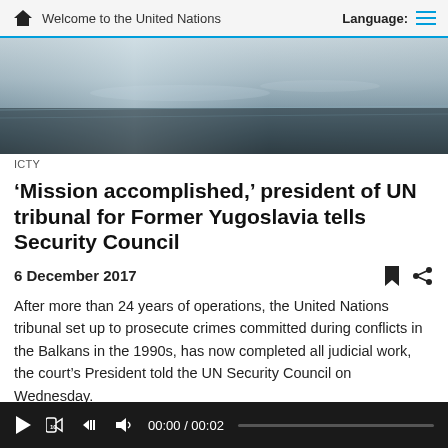Welcome to the United Nations  Language:
[Figure (photo): A dark reflective surface, likely a granite or marble wall with water reflections, appears to be exterior architecture.]
ICTY
‘Mission accomplished,’ president of UN tribunal for Former Yugoslavia tells Security Council
6 December 2017
After more than 24 years of operations, the United Nations tribunal set up to prosecute crimes committed during conflicts in the Balkans in the 1990s, has now completed all judicial work, the court’s President told the UN Security Council on Wednesday.